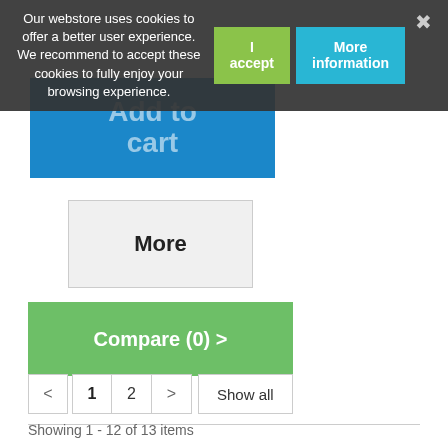Our webstore uses cookies to offer a better user experience. We recommend to accept these cookies to fully enjoy your browsing experience.
I accept
More information
Add to cart
More
Add to Wishlist
Add to Compare
Compare (0) >
1
2
Show all
Showing 1 - 12 of 13 items